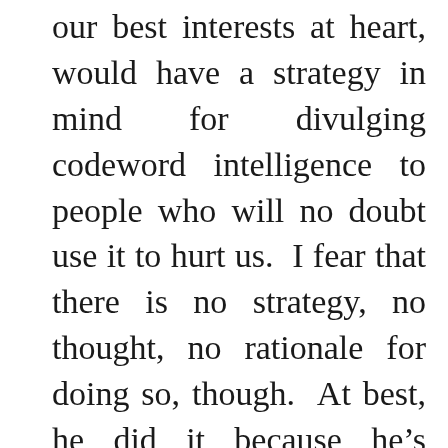our best interests at heart, would have a strategy in mind for divulging codeword intelligence to people who will no doubt use it to hurt us. I fear that there is no strategy, no thought, no rationale for doing so, though. At best, he did it because he’s stupid; because he doesn’t understand that he stands with his hand on the